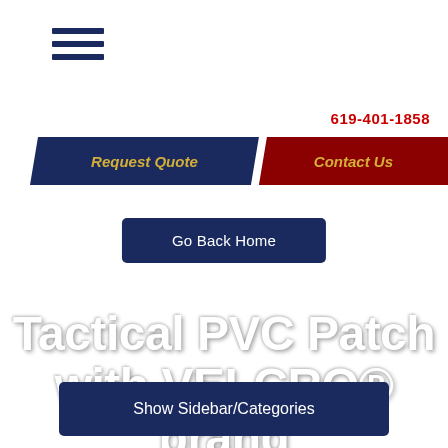[Figure (other): Hamburger menu icon — three horizontal dark navy lines stacked vertically]
619-401-1858
Request Quote
Contact Us
Go Back Home
Tactical PVC Patch with VELCRO® brand fasteners Radio Ad-Us
Show Sidebar/Categories